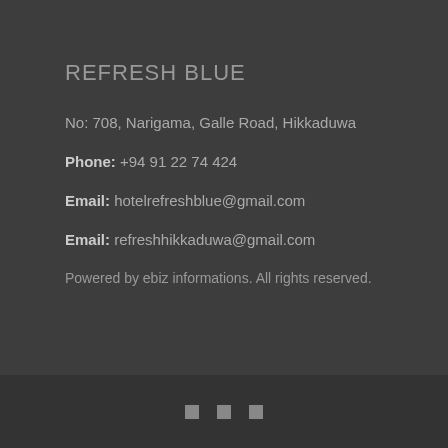REFRESH BLUE
No: 708, Narigama, Galle Road, Hikkaduwa
Phone: +94 91 22 74 424
Email: hotelrefreshblue@gmail.com
Email: refreshhikkaduwa@gmail.com
Powered by ebiz informations. All rights reserved.
[social icons]